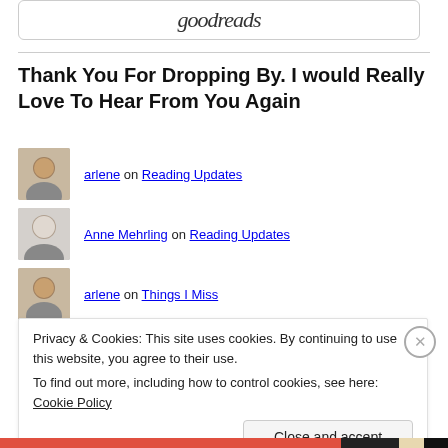[Figure (logo): Goodreads logo in a rounded rectangle box at the top]
Thank You For Dropping By. I would Really Love To Hear From You Again
arlene on Reading Updates
Anne Mehrling on Reading Updates
arlene on Things I Miss
derrickjknight on Things I Miss
Privacy & Cookies: This site uses cookies. By continuing to use this website, you agree to their use.
To find out more, including how to control cookies, see here: Cookie Policy